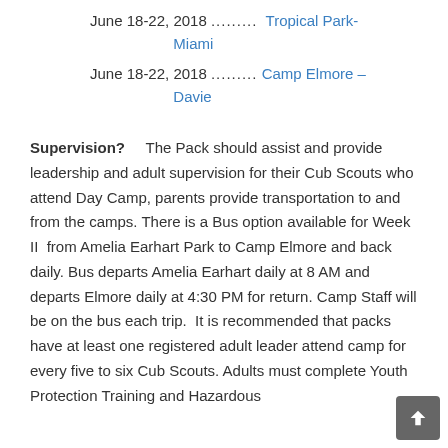June 18-22, 2018 .......... Tropical Park-Miami
June 18-22, 2018 .......... Camp Elmore – Davie
Supervision?    The Pack should assist and provide leadership and adult supervision for their Cub Scouts who attend Day Camp, parents provide transportation to and from the camps. There is a Bus option available for Week II  from Amelia Earhart Park to Camp Elmore and back daily. Bus departs Amelia Earhart daily at 8 AM and departs Elmore daily at 4:30 PM for return. Camp Staff will be on the bus each trip.  It is recommended that packs have at least one registered adult leader attend camp for every five to six Cub Scouts. Adults must complete Youth Protection Training and Hazardous